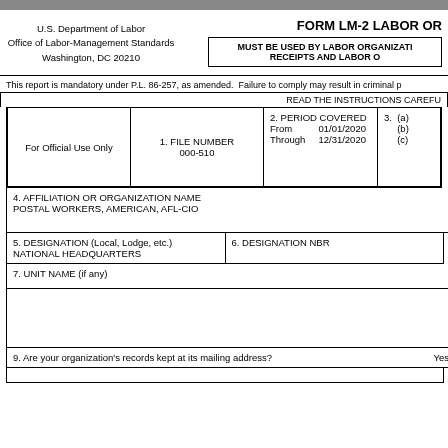FORM LM-2 LABOR OR
U.S. Department of Labor
Office of Labor-Management Standards
Washington, DC 20210
MUST BE USED BY LABOR ORGANIZATI... RECEIPTS AND LABOR O...
This report is mandatory under P.L. 86-257, as amended. Failure to comply may result in criminal p
READ THE INSTRUCTIONS CAREFU
| For Official Use Only | 1. FILE NUMBER 000-510 | 2. PERIOD COVERED From 01/01/2020 Through 12/31/2020 | 3. (a) (b) (c) |
| --- | --- | --- | --- |
4. AFFILIATION OR ORGANIZATION NAME
POSTAL WORKERS, AMERICAN, AFL-CIO
5. DESIGNATION (Local, Lodge, etc.)
NATIONAL HEADQUARTERS
6. DESIGNATION NBR
7. UNIT NAME (if any)
9. Are your organization's records kept at its mailing address?
Yes